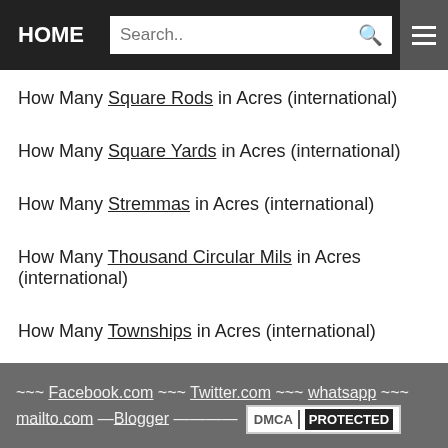HOME | Search..
How Many Square Rods in Acres (international)
How Many Square Yards in Acres (international)
How Many Stremmas in Acres (international)
How Many Thousand Circular Mils in Acres (international)
How Many Townships in Acres (international)
How Many Yardlands in Acres (international)
~~~ Facebook.com ~~~ Twitter.com ~~~ whatsapp ~~~ mailto.com —Blogger ———— DMCA PROTECTED